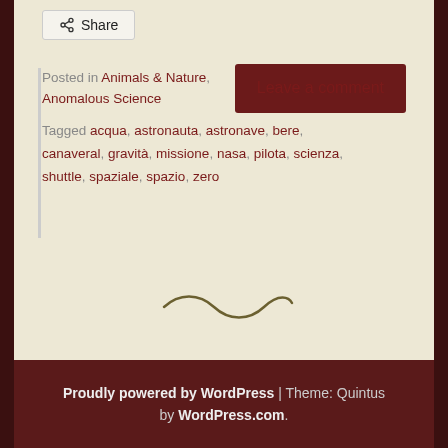Share
Posted in Animals & Nature, Anomalous Science | Leave a comment
Tagged acqua, astronauta, astronave, bere, canaveral, gravità, missione, nasa, pilota, scienza, shuttle, spaziale, spazio, zero
[Figure (illustration): Decorative tilde/squiggle divider line in dark olive/brown color]
Proudly powered by WordPress | Theme: Quintus by WordPress.com.